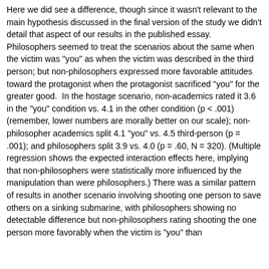Here we did see a difference, though since it wasn't relevant to the main hypothesis discussed in the final version of the study we didn't detail that aspect of our results in the published essay. Philosophers seemed to treat the scenarios about the same when the victim was "you" as when the victim was described in the third person; but non-philosophers expressed more favorable attitudes toward the protagonist when the protagonist sacrificed "you" for the greater good.  In the hostage scenario, non-academics rated it 3.6 in the "you" condition vs. 4.1 in the other condition (p < .001) (remember, lower numbers are morally better on our scale); non-philosopher academics split 4.1 "you" vs. 4.5 third-person (p = .001); and philosophers split 3.9 vs. 4.0 (p = .60, N = 320). (Multiple regression shows the expected interaction effects here, implying that non-philosophers were statistically more influenced by the manipulation than were philosophers.) There was a similar pattern of results in another scenario involving shooting one person to save others on a sinking submarine, with philosophers showing no detectable difference but non-philosophers rating shooting the one person more favorably when the victim is "you" than